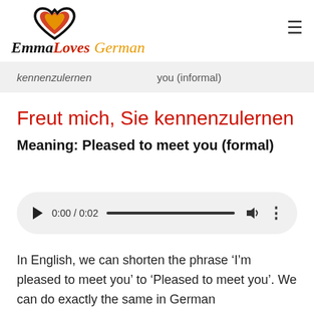[Figure (logo): Emma Loves German logo with heart icon in black, red and gold, and stylized italic text]
| kennenzulernen | you (informal) |
| --- | --- |
Freut mich, Sie kennenzulernen
Meaning: Pleased to meet you (formal)
[Figure (other): Audio player showing 0:00 / 0:02 with play button, progress bar, volume and more controls]
In English, we can shorten the phrase ‘I’m pleased to meet you’ to ‘Pleased to meet you’. We can do exactly the same in German